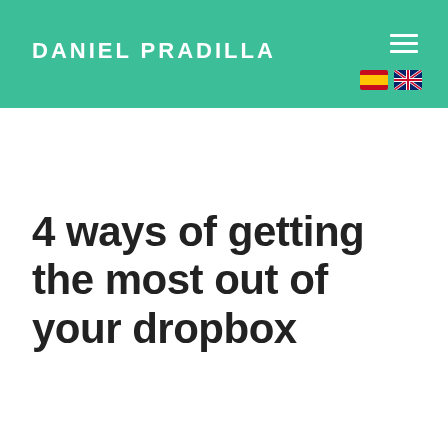DANIEL PRADILLA
4 ways of getting the most out of your dropbox